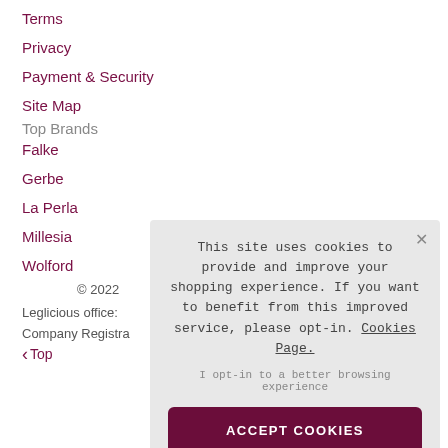Terms
Privacy
Payment & Security
Site Map
Top Brands
Falke
Gerbe
La Perla
Millesia
Wolford
© 2022
Leglicious office:
Company Registra
< Top
[Figure (screenshot): Cookie consent popup overlay with message 'This site uses cookies to provide and improve your shopping experience. If you want to benefit from this improved service, please opt-in. Cookies Page.' and an ACCEPT COOKIES button.]